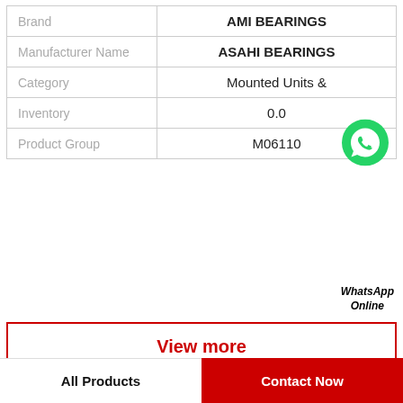|  |  |
| --- | --- |
| Brand | AMI BEARINGS |
| Manufacturer Name | ASAHI BEARINGS |
| Category | Mounted Units & |
| Inventory | 0.0 |
| Product Group | M06110 |
[Figure (logo): WhatsApp green circle icon with phone handset]
WhatsApp Online
View more
Company Profile
Oil Expeller, Oil Press and Oil Refinery Machine …
All Products
Contact Now